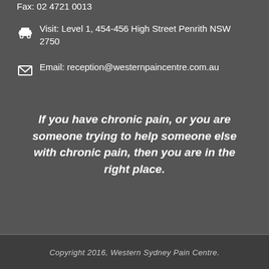Fax: 02 4721 0013
Visit: Level 1, 454-456 High Street Penrith NSW 2750
Email: reception@westernpaincentre.com.au
If you have chronic pain, or you are someone trying to help someone else with chronic pain, then you are in the right place.
Copyright 2016, Western Sydney Pain Centre.